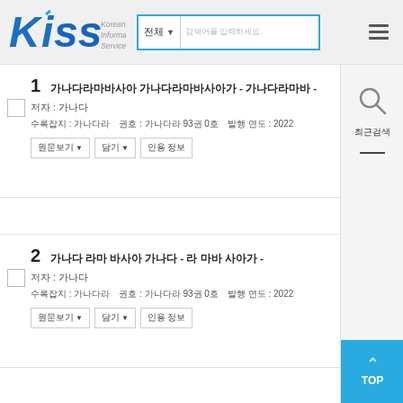[Figure (logo): KISS - Koreanstudies Information Service System logo with blue stylized text and search bar]
1 [Korean title 1] - [Korean subtitle] -
저자 : [Korean author]
수록잡지 : [Korean journal]  권호 : [Korean vol] 93권 0호  발행 연도 : 2022
2 [Korean title 2] - [Korean subtitle] -
저자 : [Korean author]
수록잡지 : [Korean journal]  권호 : [Korean vol] 93권 0호  발행 연도 : 2022